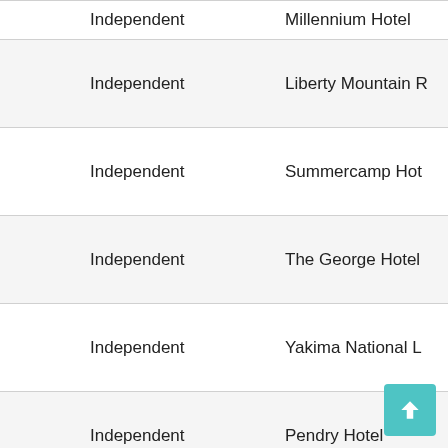| Type | Hotel Name |
| --- | --- |
| Independent | Millennium Hotel |
| Independent | Liberty Mountain R |
| Independent | Summercamp Hot |
| Independent | The George Hotel |
| Independent | Yakima National L |
| Independent | Pendry Hotel |
| Independent | Alder Hotel |
| Independent | Jung Hotel |
| Independent | Hotel Valencia |